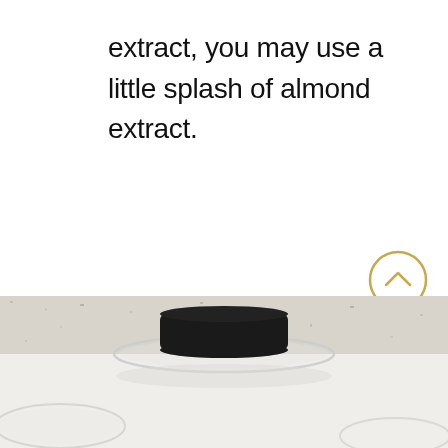extract, you may use a little splash of almond extract.
[Figure (photo): Photo of glass bowls on a marble/granite countertop surface, partially visible at bottom of page. A dark lid or cover is visible on one of the bowls.]
[Figure (other): Gold/yellow circular arrow-up button (scroll to top button) positioned in the lower right area of the page.]